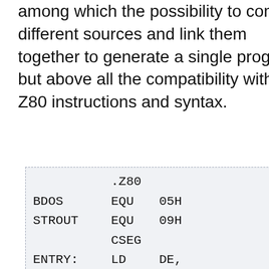among which the possibility to compile different sources and link them together to generate a single program, but above all the compatibility with the Z80 instructions and syntax.
[Figure (other): Assembly code listing box showing Z80 assembly source: .Z80 directive, BDOS EQU 05H, STROUT EQU 09H, CSEG, ENTRY: LD DE,... LD C, S... CALL BDOS RET, DSEG, HELLO: DB 'Hell... DB 13 1...]